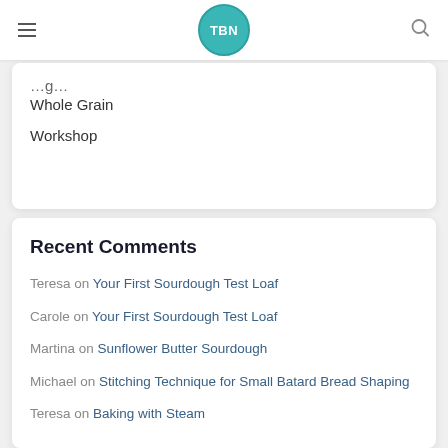TBN logo with hamburger menu and search icon
Whole Grain
Workshop
Recent Comments
Teresa on Your First Sourdough Test Loaf
Carole on Your First Sourdough Test Loaf
Martina on Sunflower Butter Sourdough
Michael on Stitching Technique for Small Batard Bread Shaping
Teresa on Baking with Steam